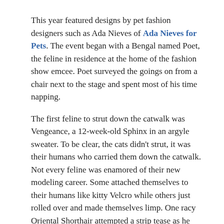This year featured designs by pet fashion designers such as Ada Nieves of Ada Nieves for Pets. The event began with a Bengal named Poet, the feline in residence at the home of the fashion show emcee. Poet surveyed the goings on from a chair next to the stage and spent most of his time napping.
The first feline to strut down the catwalk was Vengeance, a 12-week-old Sphinx in an argyle sweater. To be clear, the cats didn't strut, it was their humans who carried them down the catwalk. Not every feline was enamored of their new modeling career. Some attached themselves to their humans like kitty Velcro while others just rolled over and made themselves limp. One racy Oriental Shorthair attempted a strip tease as he slid out of his evening ensemble.
There was quite an age range represented,, everything from kitten newbies to older, more seasoned feline models.
Whether your feline enjoys clothing will depend a lot on how early you introduce them to modeling. And then again, some